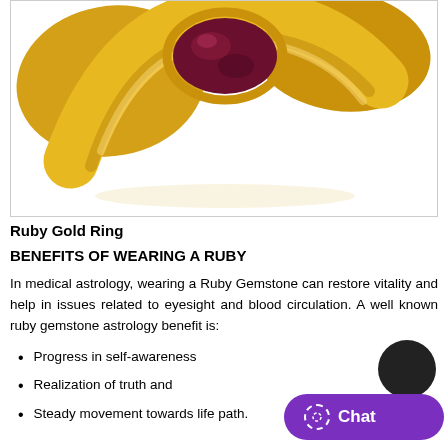[Figure (photo): A gold ring with a large oval ruby gemstone set in a bezel mount, photographed against a white background. The ring is shiny yellow gold with a smooth band.]
Ruby Gold Ring
BENEFITS OF WEARING A RUBY
In medical astrology, wearing a Ruby Gemstone can restore vitality and help in issues related to eyesight and blood circulation. A well known ruby gemstone astrology benefit is:
Progress in self-awareness
Realization of truth and
Steady movement towards life path.